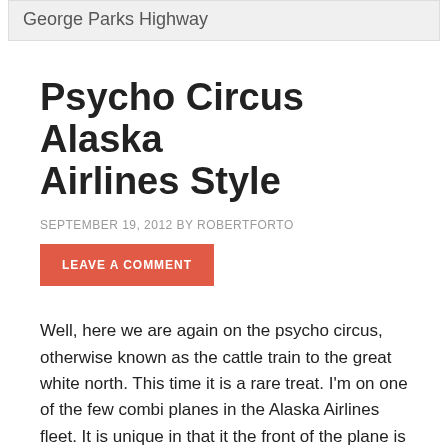George Parks Highway
Psycho Circus Alaska Airlines Style
SEPTEMBER 19, 2012 BY ROBERTFORTO
LEAVE A COMMENT
Well, here we are again on the psycho circus, otherwise known as the cattle train to the great white north. This time it is a rare treat. I'm on one of the few combi planes in the Alaska Airlines fleet. It is unique in that it the front of the plane is loaded with cargo–most likely people's impulse purchaes from Amazon and Ikea heading to Alaska. The paying folk sit in the back of the plane and have to walk outside